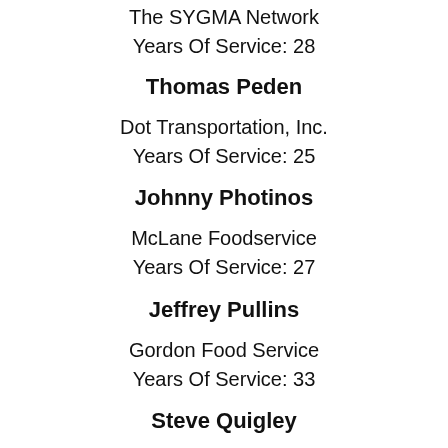The SYGMA Network
Years Of Service: 28
Thomas Peden
Dot Transportation, Inc.
Years Of Service: 25
Johnny Photinos
McLane Foodservice
Years Of Service: 27
Jeffrey Pullins
Gordon Food Service
Years Of Service: 33
Steve Quigley